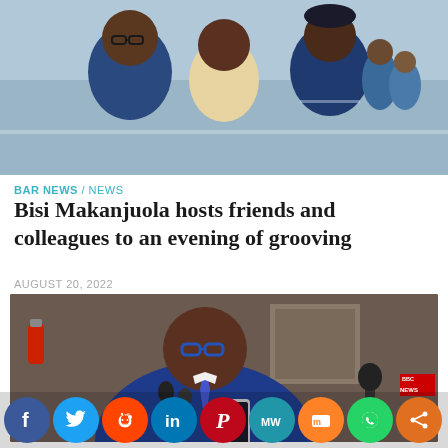[Figure (photo): Three people posing for a photo outdoors, two men in blue polo shirts and a woman in a floral top, with more people visible in the background]
BAR NEWS / NEWS
Bisi Makanjuola hosts friends and colleagues to an evening of grooving
AUGUST 20, 2022
[Figure (photo): A man in a blue suit with blue-framed glasses speaking into multiple microphones, with a BBC NEWS microphone visible on the right]
[Figure (infographic): Social media share icons row: Facebook, Twitter, Reddit, LinkedIn, Pinterest, MW, Mix, WhatsApp, Share]